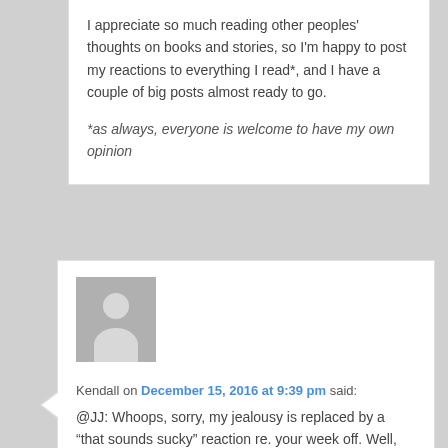I appreciate so much reading other peoples' thoughts on books and stories, so I'm happy to post my reactions to everything I read*, and I have a couple of big posts almost ready to go.
*as always, everyone is welcome to have my own opinion
Kendall on December 15, 2016 at 9:39 pm said:
@JJ: Whoops, sorry, my jealousy is replaced by a “that sounds sucky” reaction re. your week off. Well, still, I can be jealous of your plans for a lot of reading!